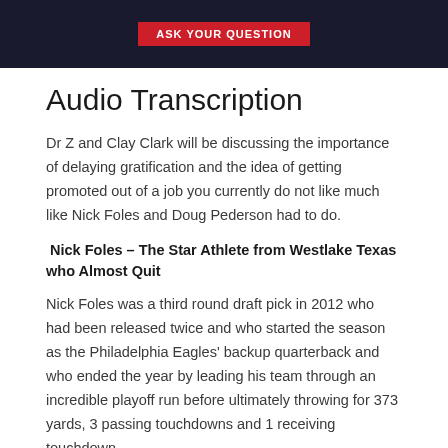[Figure (other): Dark banner with red button labeled ASK YOUR QUESTION]
Audio Transcription
Dr Z and Clay Clark will be discussing the importance of delaying gratification and the idea of getting promoted out of a job you currently do not like much like Nick Foles and Doug Pederson had to do.
Nick Foles – The Star Athlete from Westlake Texas who Almost Quit
Nick Foles was a third round draft pick in 2012 who had been released twice and who started the season as the Philadelphia Eagles' backup quarterback and who ended the year by leading his team through an incredible playoff run before ultimately throwing for 373 yards, 3 passing touchdowns and 1 receiving touchdown.
2007 – Age 18 – Nick Foles graduated from Westlake High...